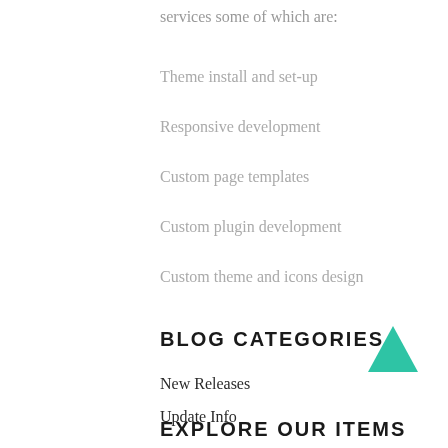services some of which are:
Theme install and set-up
Responsive development
Custom page templates
Custom plugin development
Custom theme and icons design
BLOG CATEGORIES
New Releases
Update Info
EXPLORE OUR ITEMS